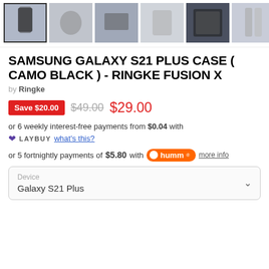[Figure (photo): Row of product thumbnail images for phone case, with first selected, followed by 5 more thumbnails and a right arrow]
SAMSUNG GALAXY S21 PLUS CASE ( CAMO BLACK ) - RINGKE FUSION X
by Ringke
Save $20.00  $49.00  $29.00
or 6 weekly interest-free payments from $0.04 with
LAYBUY what's this?
or 5 fortnightly payments of $5.80 with humm more info
| Device |
| --- |
| Galaxy S21 Plus |